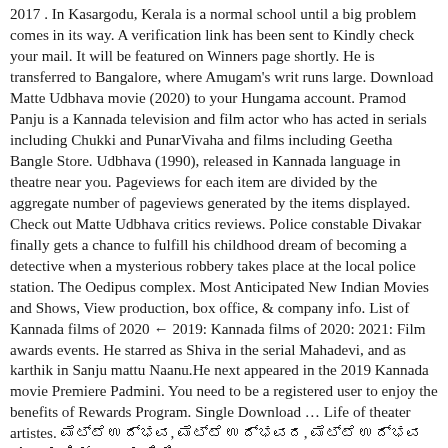2017 . In Kasargodu, Kerala is a normal school until a big problem comes in its way. A verification link has been sent to Kindly check your mail. It will be featured on Winners page shortly. He is transferred to Bangalore, where Amugam's writ runs large. Download Matte Udbhava movie (2020) to your Hungama account. Pramod Panju is a Kannada television and film actor who has acted in serials including Chukki and PunarVivaha and films including Geetha Bangle Store. Udbhava (1990), released in Kannada language in theatre near you. Pageviews for each item are divided by the aggregate number of pageviews generated by the items displayed. Check out Matte Udbhava critics reviews. Police constable Divakar finally gets a chance to fulfill his childhood dream of becoming a detective when a mysterious robbery takes place at the local police station. The Oedipus complex. Most Anticipated New Indian Movies and Shows, View production, box office, & company info. List of Kannada films of 2020 ← 2019: Kannada films of 2020: 2021: Film awards events. He starred as Shiva in the serial Mahadevi, and as karthik in Sanju mattu Naanu.He next appeared in the 2019 Kannada movie Premiere Padmini. You need to be a registered user to enjoy the benefits of Rewards Program. Single Download … Life of theater artistes. ಮೆಟ್ಟೆ ಉದ್ಭವ, ಮೆಟ್ಟೆ ಉದ್ಭವದ, ಮೆಟ್ಟೆ ಉದ್ಭವ ಚಲನಚಿತ್ರದ ಮಾಹಿತಿ. With a unique loyalty program, the Hungama rewards you for predefined action on our platform. These are some of the themes handled by ace director Puttanna Kanagal with his characteristic finesse. in Expressed in 1990 directed Nalla Tamba 1, keeping